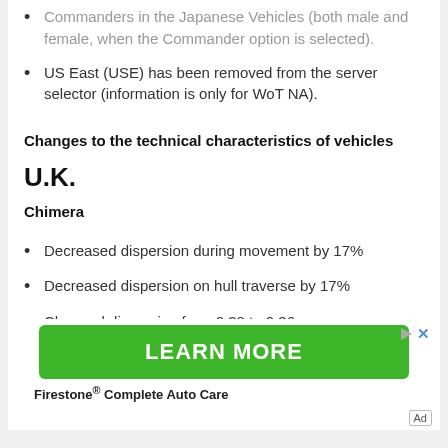Commanders in the Japanese Vehicles (both male and female, when the Commander option is selected).
US East (USE) has been removed from the server selector (information is only for WoT NA).
Changes to the technical characteristics of vehicles
U.K.
Chimera
Decreased dispersion during movement by 17%
Decreased dispersion on hull traverse by 17%
Changed dispersion from 0.38 to 0.36 m
Changed aiming time from 2.7 to 2.5 s
[Figure (infographic): Green 'LEARN MORE' advertisement button for Firestone Complete Auto Care]
Firestone® Complete Auto Care